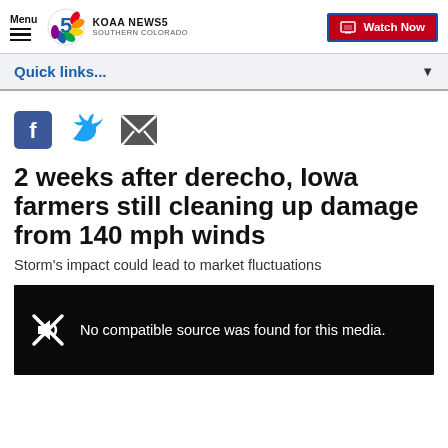Menu | KOAA NEWS5 SOUTHERN COLORADO | Watch Now
Quick links...
[Figure (infographic): Social sharing icons: Facebook, Twitter, Email]
2 weeks after derecho, Iowa farmers still cleaning up damage from 140 mph winds
Storm's impact could lead to market fluctuations
[Figure (screenshot): Video player showing: No compatible source was found for this media.]